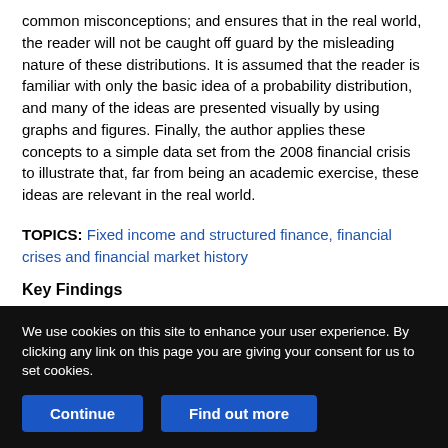common misconceptions; and ensures that in the real world, the reader will not be caught off guard by the misleading nature of these distributions. It is assumed that the reader is familiar with only the basic idea of a probability distribution, and many of the ideas are presented visually by using graphs and figures. Finally, the author applies these concepts to a simple data set from the 2008 financial crisis to illustrate that, far from being an academic exercise, these ideas are relevant in the real world.
TOPICS: Fixed income and structured finance, financial crises and financial market history
Key Findings
We use cookies on this site to enhance your user experience. By clicking any link on this page you are giving your consent for us to set cookies.